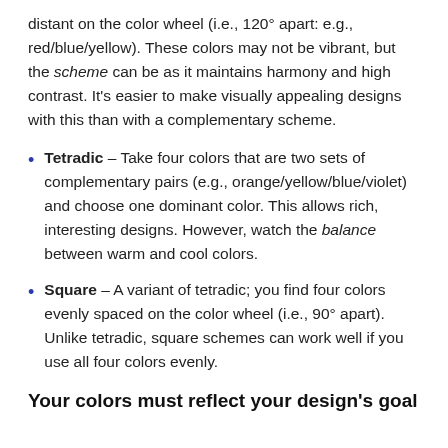distant on the color wheel (i.e., 120° apart: e.g., red/blue/yellow). These colors may not be vibrant, but the scheme can be as it maintains harmony and high contrast. It's easier to make visually appealing designs with this than with a complementary scheme.
Tetradic – Take four colors that are two sets of complementary pairs (e.g., orange/yellow/blue/violet) and choose one dominant color. This allows rich, interesting designs. However, watch the balance between warm and cool colors.
Square – A variant of tetradic; you find four colors evenly spaced on the color wheel (i.e., 90° apart). Unlike tetradic, square schemes can work well if you use all four colors evenly.
Your colors must reflect your design's goal